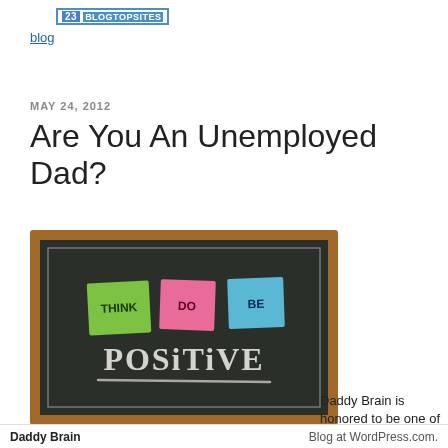[Figure (logo): BlogTopSites badge showing number 23 with blue border and blue background text]
blog
MAY 24, 2012
Are You An Unemployed Dad?
[Figure (photo): A chalkboard with three sticky notes labeled THINK (green), DO (pink), BE (blue) and chalk text reading POSITIVE with a chalk underline]
Daddy Brain is honored to be one of the guest writers over at Life of
Daddy Brain    Blog at WordPress.com.